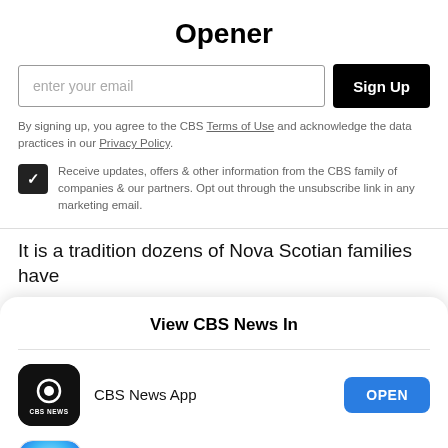Opener
enter your email
By signing up, you agree to the CBS Terms of Use and acknowledge the data practices in our Privacy Policy.
Receive updates, offers & other information from the CBS family of companies & our partners. Opt out through the unsubscribe link in any marketing email.
It is a tradition dozens of Nova Scotian families have
View CBS News In
CBS News App
Safari